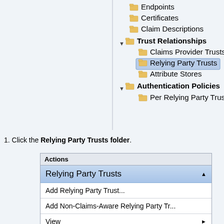[Figure (screenshot): Windows AD FS management tree panel showing folder hierarchy including Endpoints, Certificates, Claim Descriptions, Trust Relationships (expanded with Claims Provider Trusts, Relying Party Trusts highlighted, Attribute Stores), and Authentication Policies (expanded with Per Relying Party Trust)]
1. Click the Relying Party Trusts folder.
[Figure (screenshot): Actions panel in AD FS management console showing 'Relying Party Trusts' selected with menu items: Add Relying Party Trust..., Add Non-Claims-Aware Relying Party Tr..., View (with submenu arrow), New Window from Here]